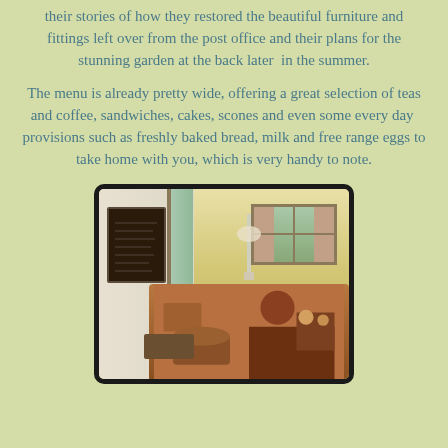their stories of how they restored the beautiful furniture and fittings left over from the post office and their plans for the stunning garden at the back later  in the summer.
The menu is already pretty wide, offering a great selection of teas and coffee, sandwiches, cakes, scones and even some every day  provisions such as freshly baked bread, milk and free range eggs to take home with you, which is very handy to note.
[Figure (photo): Interior of a cafe/tearoom showing a chalkboard menu on the left wall, a green door, cream/yellow walls, a window with pink/orange curtains on the right, and a wooden table in the foreground with various cakes and baked goods displayed.]